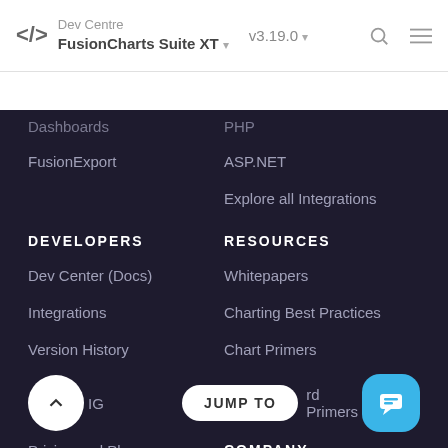Dev Centre / FusionCharts Suite XT ▾ / v3.19.0 ▾
Dashboards
FusionExport
PHP
ASP.NET
Explore all Integrations
DEVELOPERS
RESOURCES
Dev Center (Docs)
Whitepapers
Integrations
Charting Best Practices
Version History
Chart Primers
rd Primers
Pricing and Plans
COMPANY